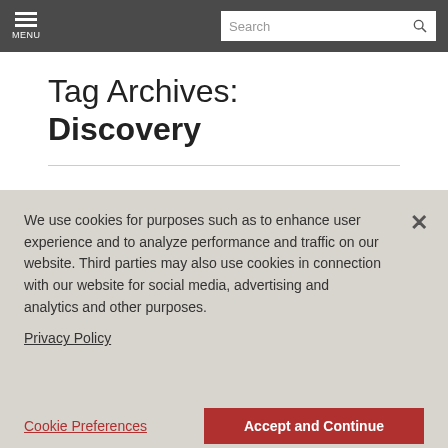MENU | Search
Tag Archives: Discovery
Key COVID-19 Considerations for U.S. Discovery and Information Governance
We use cookies for purposes such as to enhance user experience and to analyze performance and traffic on our website. Third parties may also use cookies in connection with our website for social media, advertising and analytics and other purposes.
Privacy Policy
Cookie Preferences    Accept and Continue